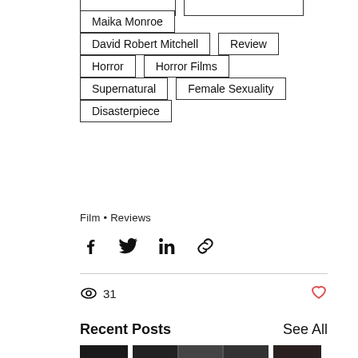Maika Monroe
David Robert Mitchell
Review
Horror
Horror Films
Supernatural
Female Sexuality
Disasterpiece
Film • Reviews
31 views
Recent Posts
See All
[Figure (photo): Thumbnail images of recent posts]